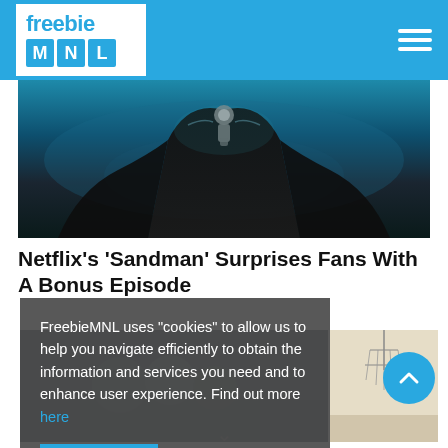freebie MNL
[Figure (photo): Hero image showing a dark-robed figure (Sandman) with a silver crown/ornament, dark dramatic lighting with teal tones]
Netflix's 'Sandman' Surprises Fans With A Bonus Episode
FreebieMNL uses "cookies" to allow us to help you navigate efficiently to obtain the information and services you need and to enhance user experience. Find out more here
[Figure (photo): People smiling, group photo in article thumbnail]
[Figure (photo): Interior room with chandelier, article thumbnail on right side]